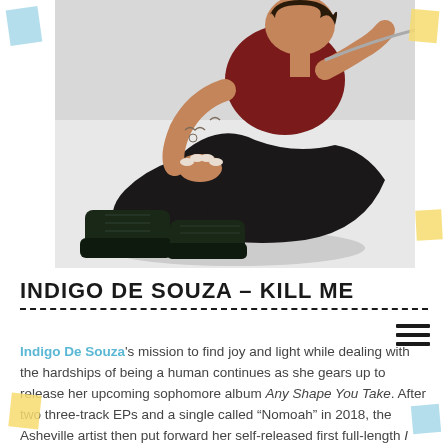[Figure (photo): Photo of Indigo De Souza, a young woman with tattoos, wearing a dark red/burgundy outfit and large black platform boots, sitting/crouching against a white background. Her hands rest on her knees showing manicured white nails.]
INDIGO DE SOUZA - KILL ME
Indigo De Souza's mission to find joy and light while dealing with the hardships of being a human continues as she gears up to release her upcoming sophomore album Any Shape You Take. After two three-track EPs and a single called "Nomoah" in 2018, the Asheville artist then put forward her self-released first full-length I Love My Mom in